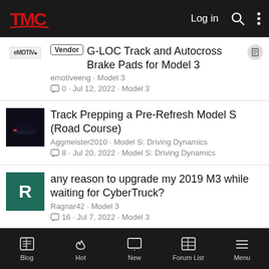TMC forum header — Log in, Search, Menu
Vendor G-LOC Track and Autocross Brake Pads for Model 3 · emotiveeng · Model 3 · 0 · Jul 12, 2022 · Model 3
Track Prepping a Pre-Refresh Model S (Road Course) · Aggmeister2010 · Model S: Driving Dynamics · 8 · Jul 20, 2022 · Model S: Driving Dynamics
any reason to upgrade my 2019 M3 while waiting for CyberTruck? · Ragnar42 · Model 3 · 16 · Jul 7, 2022 · Model 3
Blog · Hot · New · Forum List · Menu